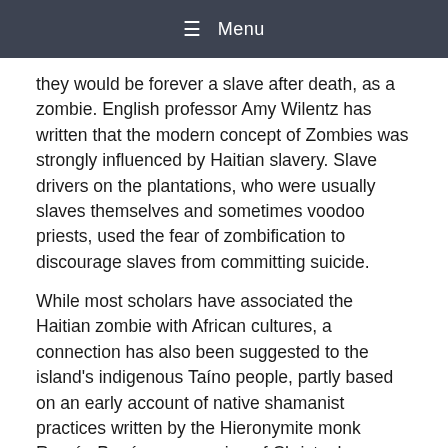☰ Menu
they would be forever a slave after death, as a zombie. English professor Amy Wilentz has written that the modern concept of Zombies was strongly influenced by Haitian slavery. Slave drivers on the plantations, who were usually slaves themselves and sometimes voodoo priests, used the fear of zombification to discourage slaves from committing suicide.
While most scholars have associated the Haitian zombie with African cultures, a connection has also been suggested to the island's indigenous Taíno people, partly based on an early account of native shamanist practices written by the Hieronymite monk Ramón Pané, a companion of Christopher Columbus.
In Haitian culture zombies are not evil creatures but victims. They are said to be people who have